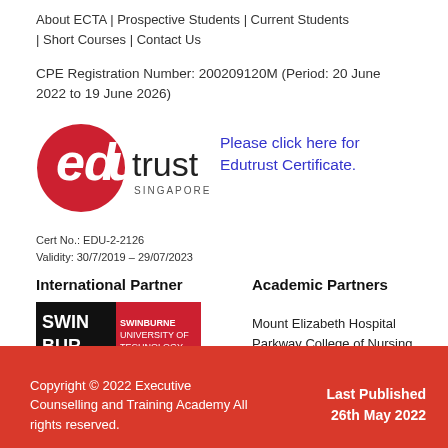About ECTA | Prospective Students | Current Students | Short Courses | Contact Us
CPE Registration Number: 200209120M (Period: 20 June 2022 to 19 June 2026)
[Figure (logo): EduTrust Singapore logo - red circular logo with 'edu trust SINGAPORE' text]
Please click here for Edutrust Certificate.
Cert No.: EDU-2-2126
Validity: 30/7/2019 – 29/07/2023
International Partner
Academic Partners
[Figure (logo): Swinburne University of Technology logo - black and red blocks with SWINBURNE text]
Mount Elizabeth Hospital Parkway College of Nursing and Allied Health
Copyright © 2022 Executive Counselling and Training Academy All rights reserved.
Last Published 26th May 2022